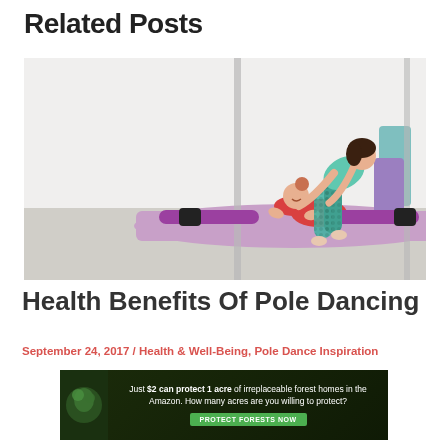Related Posts
[Figure (photo): Two women in a dance/fitness studio. One woman in patterned leggings and teal top leans over the other, who is doing a full split on a purple yoga mat wearing a red sports bra and purple leggings. Metal poles visible in background with rolled exercise mats.]
Health Benefits Of Pole Dancing
September 24, 2017 / Health & Well-Being, Pole Dance Inspiration
[Figure (infographic): Advertisement banner: Just $2 can protect 1 acre of irreplaceable forest homes in the Amazon. How many acres are you willing to protect? PROTECT FORESTS NOW]